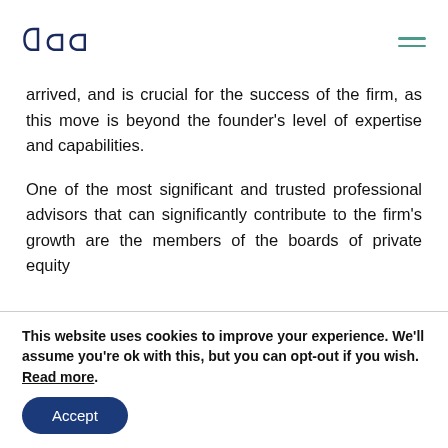daa [logo] [hamburger menu]
arrived, and is crucial for the success of the firm, as this move is beyond the founder's level of expertise and capabilities.
One of the most significant and trusted professional advisors that can significantly contribute to the firm's growth are the members of the boards of private equity
This website uses cookies to improve your experience. We'll assume you're ok with this, but you can opt-out if you wish. Read more.
Accept